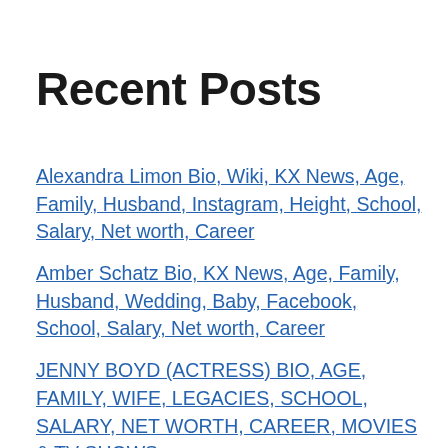Recent Posts
Alexandra Limon Bio, Wiki, KX News, Age, Family, Husband, Instagram, Height, School, Salary, Net worth, Career
Amber Schatz Bio, KX News, Age, Family, Husband, Wedding, Baby, Facebook, School, Salary, Net worth, Career
JENNY BOYD (ACTRESS) BIO, AGE, FAMILY, WIFE, LEGACIES, SCHOOL, SALARY, NET WORTH, CAREER, MOVIES & TV SHOWS
Jenny Boyd Bio, Wiki, Age, Family, Husband, Children, Height, Career, Rock Muse, Writer,